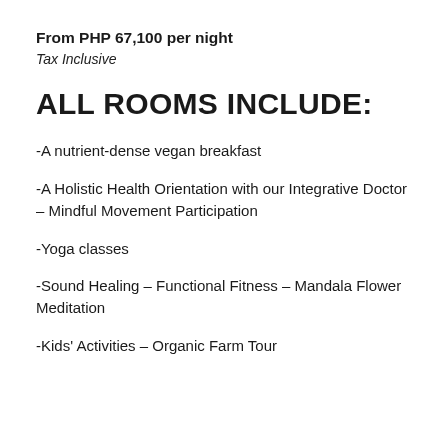From PHP 67,100 per night
Tax Inclusive
ALL ROOMS INCLUDE:
-A nutrient-dense vegan breakfast
-A Holistic Health Orientation with our Integrative Doctor – Mindful Movement Participation
-Yoga classes
-Sound Healing – Functional Fitness – Mandala Flower Meditation
-Kids' Activities – Organic Farm Tour